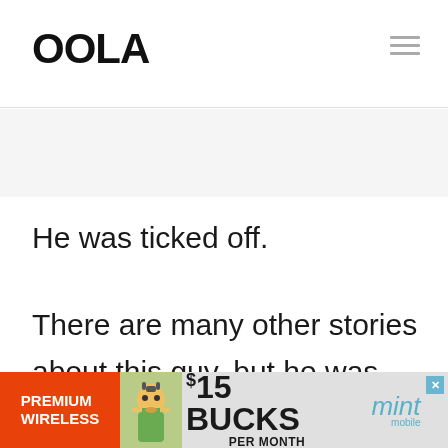OOLA
He was ticked off.
There are many other stories about this guy, but he was finally caught on video demanding having work done on his car and then refusing
[Figure (infographic): Advertisement banner for Mint Mobile: Premium Wireless $15 BUCKS PER MONTH]